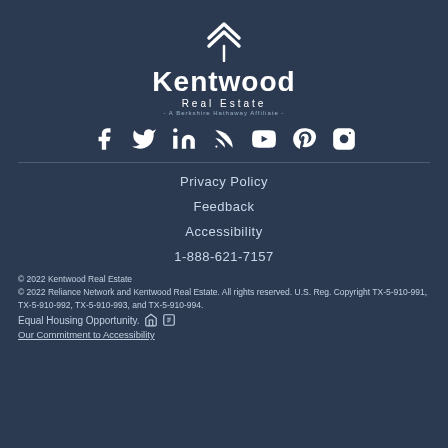[Figure (logo): Kentwood Real Estate logo with chevron/arrow icon above text reading 'Kentwood Real Estate - A Berkshire Hathaway Affiliate']
[Figure (infographic): Row of social media icons: Facebook, Twitter, LinkedIn, RSS, YouTube, Pinterest, Instagram]
Privacy Policy
Feedback
Accessibility
1-888-621-7157
© 2022 Kentwood Real Estate
© 2022 Reliance Network and Kentwood Real Estate. All rights reserved. U.S. Reg. Copyright TX-5-910-991, TX-5-910-992, TX-5-910-993, and TX-5-910-994.
Equal Housing Opportunity.
Our Commitment to Accessibility